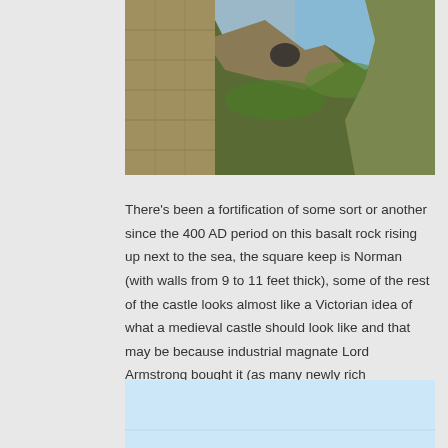[Figure (photo): Photo of a castle on a basalt rock with green grass and blue sky visible, rock face and stone walls prominent]
There's been a fortification of some sort or another since the 400 AD period on this basalt rock rising up next to the sea, the square keep is Norman (with walls from 9 to 11 feet thick), some of the rest of the castle looks almost like a Victorian idea of what a medieval castle should look like and that may be because industrial magnate Lord Armstrong bought it (as many newly rich industrialists did with castles and country houses to fit in with the upper classes in society) and restored it. Beautiful building though, on lovely part of the coast and we were lucky to arrive late afternoon as the sunlight was stretched out to a lovely, warm copper colour and was hitting the landward side of the castle, making the ancient red stonework glow.
[Figure (photo): Partial photo at bottom of page showing light blue sky, beginning of another castle image]